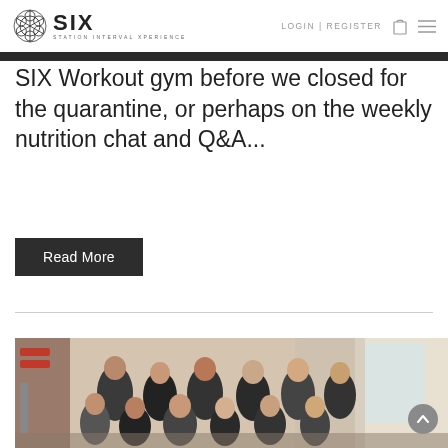SIX STATION INTERVAL XPERIENCE | LOGIN | REGISTER
SIX Workout gym before we closed for the quarantine, or perhaps on the weekly nutrition chat and Q&A...
Read More
[Figure (photo): Group photo of people inside SIX Workout gym, posing together smiling, with gym equipment visible in background]